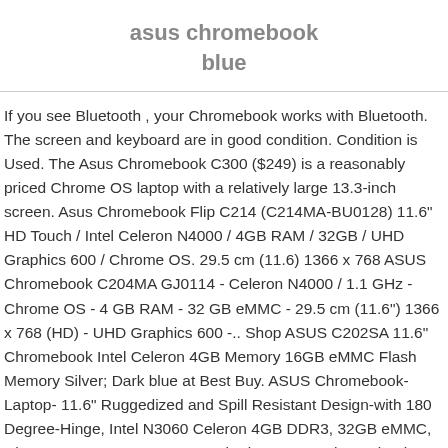asus chromebook blue
If you see Bluetooth , your Chromebook works with Bluetooth. The screen and keyboard are in good condition. Condition is Used. The Asus Chromebook C300 ($249) is a reasonably priced Chrome OS laptop with a relatively large 13.3-inch screen. Asus Chromebook Flip C214 (C214MA-BU0128) 11.6" HD Touch / Intel Celeron N4000 / 4GB RAM / 32GB / UHD Graphics 600 / Chrome OS. 29.5 cm (11.6) 1366 x 768 ASUS Chromebook C204MA GJ0114 - Celeron N4000 / 1.1 GHz - Chrome OS - 4 GB RAM - 32 GB eMMC - 29.5 cm (11.6") 1366 x 768 (HD) - UHD Graphics 600 -.. Shop ASUS C202SA 11.6" Chromebook Intel Celeron 4GB Memory 16GB eMMC Flash Memory Silver; Dark blue at Best Buy. ASUS Chromebook-Laptop- 11.6" Ruggedized and Spill Resistant Design-with 180 Degree-Hinge, Intel N3060 Celeron 4GB DDR3, 32GB eMMC, Chrome OS- C202SA-YS04 Dark Blue. ASUS Chromebook laptop at UHD 60...